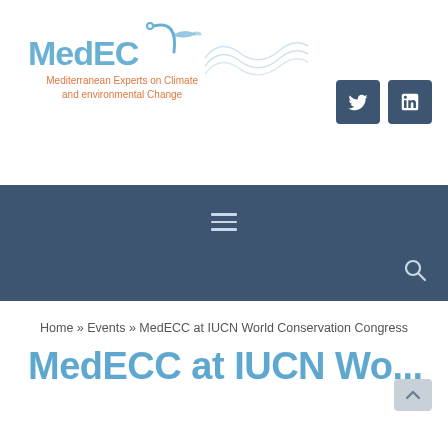[Figure (logo): MedECC logo — Mediterranean Experts on Climate and environmental Change — with stylized arc, fish, and wave graphic in blue/orange]
[Figure (infographic): Twitter and LinkedIn social media icon buttons in dark navy/slate color]
[Figure (infographic): Dark navy navigation bar with hamburger menu icon and search icon]
Home » Events » MedECC at IUCN World Conservation Congress
MedECC at IUCN World...